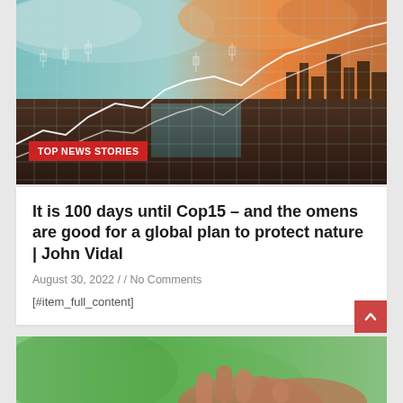[Figure (photo): City skyline with financial data overlays, stock chart lines, and candlestick charts superimposed on an aerial view of a busy road and waterway at dusk]
TOP NEWS STORIES
It is 100 days until Cop15 – and the omens are good for a global plan to protect nature | John Vidal
August 30, 2022 / / No Comments
[#item_full_content]
[Figure (photo): Close-up of hands holding a seedling or small plant against a green blurred background]